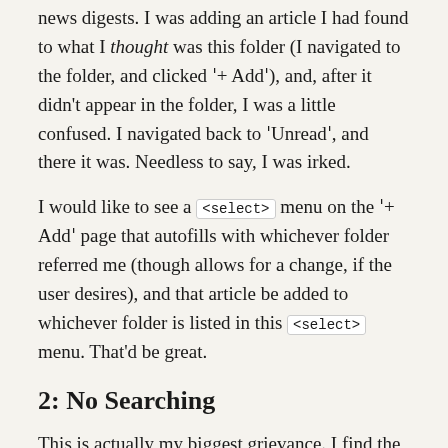news digests. I was adding an article I had found to what I thought was this folder (I navigated to the folder, and clicked ˈ+ Addˉ), and, after it didn’t appear in the folder, I was a little confused. I navigated back to ˈUnreadˉ, and there it was. Needless to say, I was irked.
I would like to see a <select> menu on the ˈ+ Addˉ page that autofills with whichever folder referred me (though allows for a change, if the user desires), and that article be added to whichever folder is listed in this <select> menu. That’d be great.
2: No Searching
This is actually my biggest grievance. I find the inability to search through my (>1000) articles to be quite annoying. Oftentimes, I will read an article, refer to it in a conversation and have no way to find it and send it to the person(s) with whom I discussed the article, because